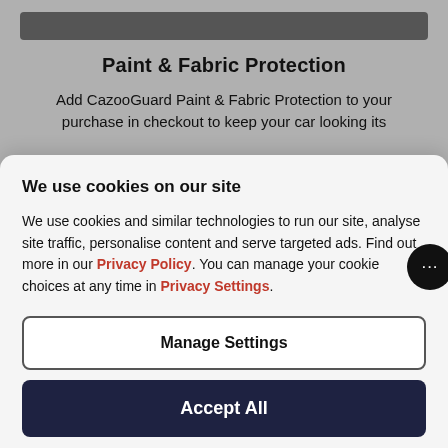[Figure (screenshot): Top grey background section with dark image bar, title 'Paint & Fabric Protection' and partial body text visible behind cookie overlay]
Paint & Fabric Protection
Add CazooGuard Paint & Fabric Protection to your purchase in checkout to keep your car looking its
We use cookies on our site
We use cookies and similar technologies to run our site, analyse site traffic, personalise content and serve targeted ads. Find out more in our Privacy Policy. You can manage your cookie choices at any time in Privacy Settings.
Manage Settings
Accept All